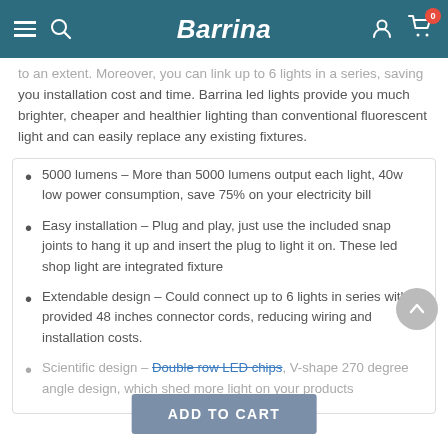Barrina
to an extent. Moreover, you can link up to 6 lights in a series, saving you installation cost and time. Barrina led lights provide you much brighter, cheaper and healthier lighting than conventional fluorescent light and can easily replace any existing fixtures.
5000 lumens – More than 5000 lumens output each light, 40w low power consumption, save 75% on your electricity bill
Easy installation – Plug and play, just use the included snap joints to hang it up and insert the plug to light it on. These led shop light are integrated fixture
Extendable design – Could connect up to 6 lights in series with provided 48 inches connector cords, reducing wiring and installation costs.
Scientific design – Double row LED chips, V-shape 270 degree angle design, which shed more light on your products